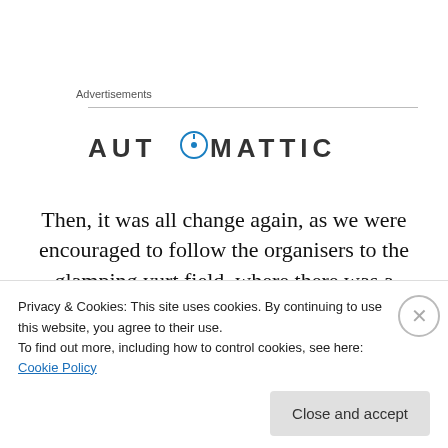Advertisements
[Figure (logo): Automattic logo with circular compass icon replacing the letter O]
Then, it was all change again, as we were encouraged to follow the organisers to the glamping yurt field, where there was a fantastic bonfire and fireworks, mmmm, toasty!
Privacy & Cookies: This site uses cookies. By continuing to use this website, you agree to their use.
To find out more, including how to control cookies, see here: Cookie Policy
Close and accept